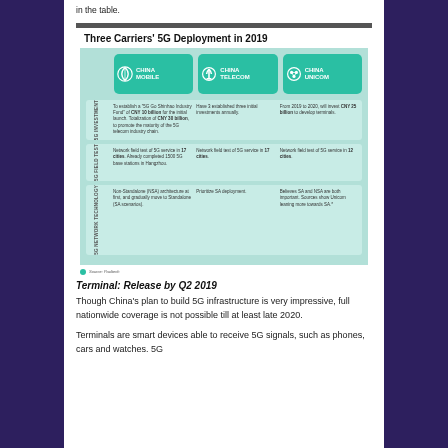in the table.
[Figure (infographic): Infographic titled 'Three Carriers' 5G Deployment in 2019' showing a table comparing China Mobile, China Telecom, and China Unicom across three categories: 5G Investment, 5G Field Test, and 5G Network Technology. China Mobile established a '5G Go Shinhao Industry Fund' of CNY 10 billion for the initial launch, totalization of CNY 30 billion, to promote the maturity of the 5G telecom industry chain. China Telecom has established three initial investments annually. From 2019 to 2020, will invest CNY 25 billion to develop terminals. Network field test of 5G service in 17 cities, already completed 1500 5G base stations in Hangzhou; in 17 cities; in 12 cities. China Mobile uses Non-Standalone (NSA) architecture at first, and gradually moves to Standalone (SA) scenarios. China Telecom prioritizes SA deployment. China Unicom believes SA and NSA are both important, sources show Unicom leaning more towards SA.]
Source: Paultech
Terminal: Release by Q2 2019
Though China's plan to build 5G infrastructure is very impressive, full nationwide coverage is not possible till at least late 2020.
Terminals are smart devices able to receive 5G signals, such as phones, cars and watches. 5G